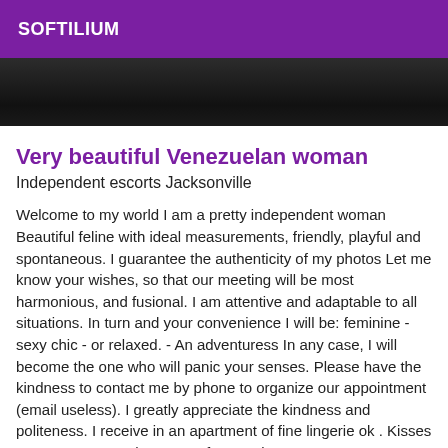SOFTILIUM
[Figure (photo): Dark/dimly lit photograph strip at the top of the listing page]
Very beautiful Venezuelan woman
Independent escorts Jacksonville
Welcome to my world I am a pretty independent woman Beautiful feline with ideal measurements, friendly, playful and spontaneous. I guarantee the authenticity of my photos Let me know your wishes, so that our meeting will be most harmonious, and fusional. I am attentive and adaptable to all situations. In turn and your convenience I will be: feminine - sexy chic - or relaxed. - An adventuress In any case, I will become the one who will panic your senses. Please have the kindness to contact me by phone to organize our appointment (email useless). I greatly appreciate the kindness and politeness. I receive in an apartment of fine lingerie ok . Kisses to very soon. 150 hours 100 for 30 minutes 50